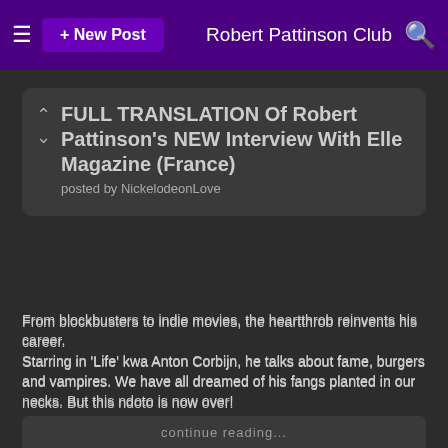≡  + New Post    Robert Pattinson Club  🔍
FULL TRANSLATION Of Robert Pattinson's NEW Interview With Elle Magazine (France)
posted by NickelodeonLove
From blockbusters to indie movies, the heartthrob reinvents his career.
Starring in 'Life' kwa Anton Corbijn, he talks about fame, burgers and vampires. We have all dreamed of his fangs planted in our necks. But this ndoto is now over!
Robert Pattinson, the sexiest vampire, inayopendelewa topic of all the paparazzi since 'Twilight', has completely performed his metamorphosis. Two chic sinema with David Cronenberg 'Cosmopolis' and 'Maps to the Stars', then 'The Rover' kwa David Michod, an amazing road trip in the Australian desert, made him change.
As if after the 'Twilight' phenomenon, the indie movies...
continue reading...